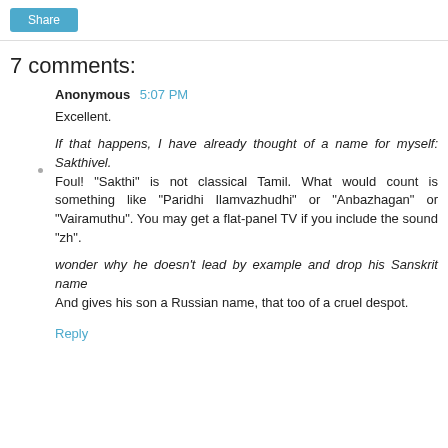Share
7 comments:
Anonymous 5:07 PM
Excellent.
If that happens, I have already thought of a name for myself: Sakthivel.
Foul! "Sakthi" is not classical Tamil. What would count is something like "Paridhi Ilamvazhudhi" or "Anbazhagan" or "Vairamuthu". You may get a flat-panel TV if you include the sound "zh".
wonder why he doesn't lead by example and drop his Sanskrit name
And gives his son a Russian name, that too of a cruel despot.
Reply